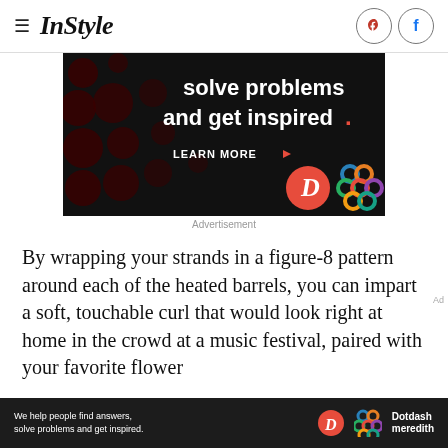InStyle
[Figure (screenshot): Advertisement banner with dark background showing 'solve problems and get inspired.' text with LEARN MORE button, Dotdash D logo in red circle, and colorful Dotdash Meredith interlocking circles logo]
Advertisement
By wrapping your strands in a figure-8 pattern around each of the heated barrels, you can impart a soft, touchable curl that would look right at home in the crowd at a music festival, paired with your favorite flower
[Figure (screenshot): Bottom advertisement bar: 'We help people find answers, solve problems and get inspired.' with Dotdash D logo and Dotdash Meredith branding]